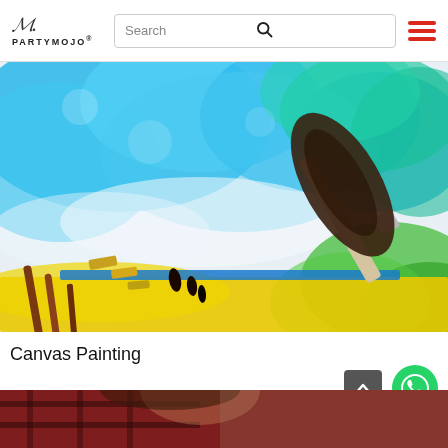PartyMojo — Search bar and hamburger menu
[Figure (photo): Watercolor canvas painting with paintbrushes; vivid blue, green, yellow washes on white paper with a large flat brush and two thin brushes]
Canvas Painting
[Figure (photo): Bottom partial image showing a person in a red plaid shirt]